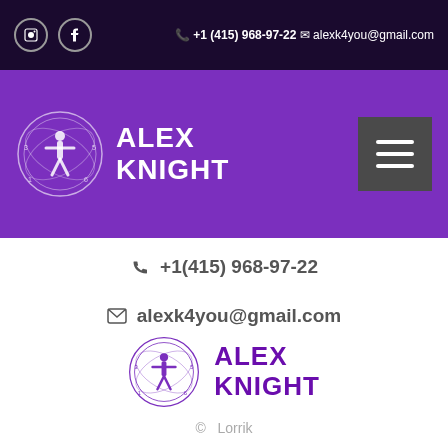Social icons | +1 (415) 968-97-22 | alexk4you@gmail.com
[Figure (logo): Alex Knight logo with circular mystical figure and text ALEX KNIGHT in white on purple background with hamburger menu button]
+1(415) 968-97-22
alexk4you@gmail.com
[Figure (logo): Alex Knight logo with circular figure on white background with purple text ALEX KNIGHT]
© Lorrik